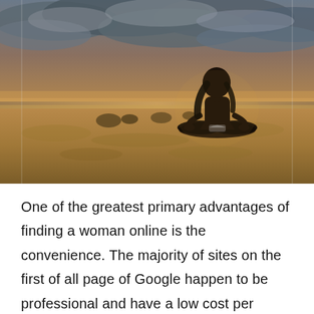[Figure (photo): A woman sitting in a meditation pose (lotus position) on a beach at sunset or sunrise, viewed from behind. The sky has dramatic clouds and warm golden-brown tones. The beach has wet sand with reflections.]
One of the greatest primary advantages of finding a woman online is the convenience. The majority of sites on the first of all page of Google happen to be professional and have a low cost per minute. You may also pay to watch a girl's video clip. A lot of women have a good-looking video issues profile, therefore you don't have to fork out a lot to see this. But be certain you're not also